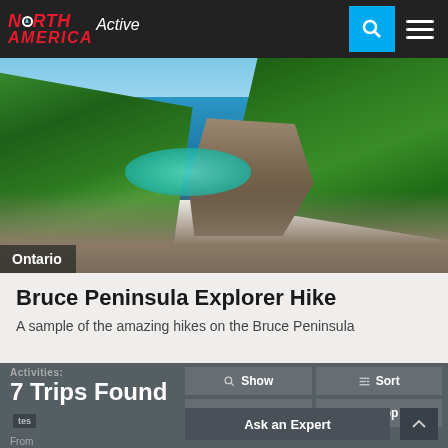North America Active — navigation bar with search and menu
[Figure (photo): Scenic coastal landscape of the Bruce Peninsula, Ontario. Rocky limestone shoreline with turquoise-green cove water, surrounded by dense green trees and forest. Blue sky with light clouds above.]
Ontario
Bruce Peninsula Explorer Hike
A sample of the amazing hikes on the Bruce Peninsula
Activities: 7 Trips Found
From $990 USD
Show | Sort | Clear | Top | Ask an Expert